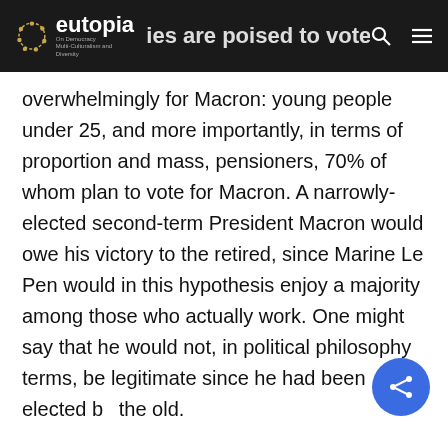eutopia — [partial heading] …ies are poised to vote
overwhelmingly for Macron: young people under 25, and more importantly, in terms of proportion and mass, pensioners, 70% of whom plan to vote for Macron. A narrowly-elected second-term President Macron would owe his victory to the retired, since Marine Le Pen would in this hypothesis enjoy a majority among those who actually work. One might say that he would not, in political philosophy terms, be legitimate since he had been elected by the old.